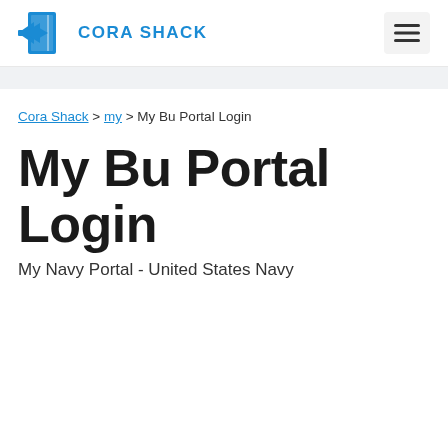CORA SHACK
Cora Shack > my > My Bu Portal Login
My Bu Portal Login
My Navy Portal - United States Navy